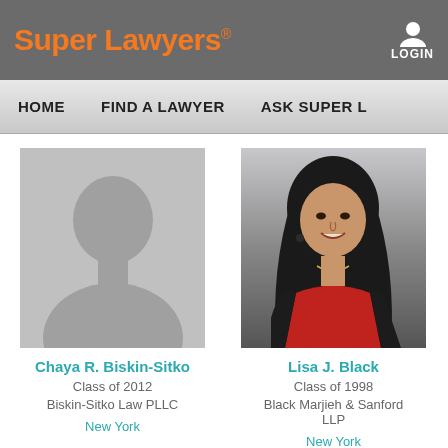Super Lawyers®
LOGIN
HOME   FIND A LAWYER   ASK SUPER L
[Figure (photo): Silhouette placeholder image for lawyer with no photo]
Chaya R. Biskin-Sitko
Class of 2012
Biskin-Sitko Law PLLC
New York
[Figure (photo): Professional headshot of Lisa J. Black, a woman with dark hair wearing a black jacket and red top, smiling]
Lisa J. Black
Class of 1998
Black Marjieh & Sanford LLP
New York